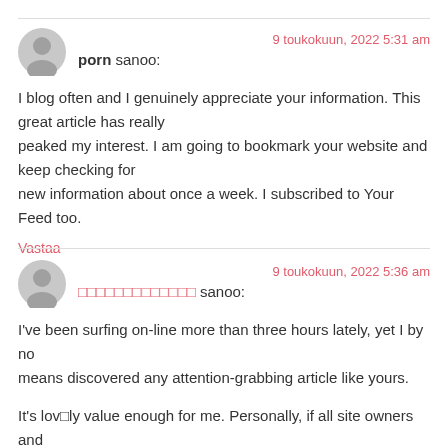porn sanoo:
9 toukokuun, 2022 5:31 am
I blog often and I genuinely appreciate your information. This great article has really peaked my interest. I am going to bookmark your website and keep checking for new information about once a week. I subscribed to Your Feed too.
Vastaa
□□□□□□□□□□□□□ sanoo:
9 toukokuun, 2022 5:36 am
I've been surfing on-line more than three hours lately, yet I by no means discovered any attention-grabbing article like yours.
It's lov□ly value enough for me. Personally, if all site owners and bloggers mad□ just right content as you did,